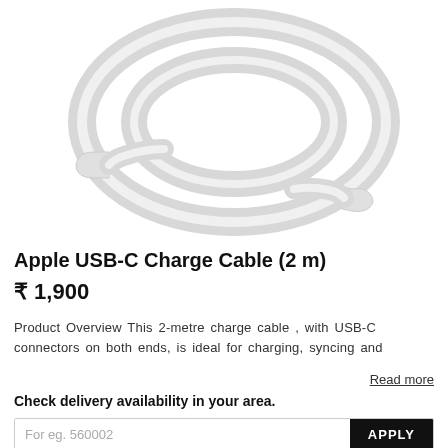[Figure (photo): White Apple USB-C charge cable coiled in a loop on a white background, with USB-C connectors visible at both ends]
Apple USB-C Charge Cable (2 m)
₹ 1,900
Product Overview This 2-metre charge cable , with USB-C connectors on both ends, is ideal for charging, syncing and
Read more
Check delivery availability in your area.
For eg. 560002
APPLY